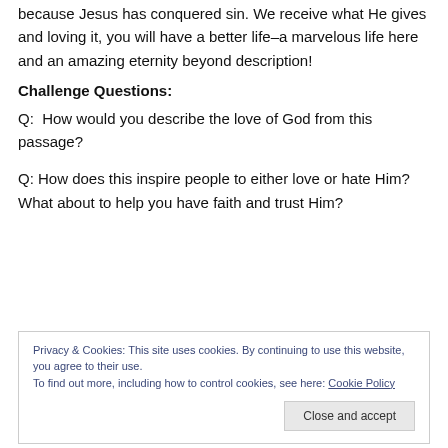because Jesus has conquered sin. We receive what He gives and loving it, you will have a better life–a marvelous life here and an amazing eternity beyond description!
Challenge Questions:
Q:  How would you describe the love of God from this passage?
Q: How does this inspire people to either love or hate Him?  What about to help you have faith and trust Him?
Privacy & Cookies: This site uses cookies. By continuing to use this website, you agree to their use.
To find out more, including how to control cookies, see here: Cookie Policy